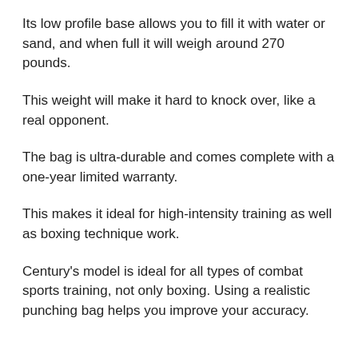Its low profile base allows you to fill it with water or sand, and when full it will weigh around 270 pounds.
This weight will make it hard to knock over, like a real opponent.
The bag is ultra-durable and comes complete with a one-year limited warranty.
This makes it ideal for high-intensity training as well as boxing technique work.
Century's model is ideal for all types of combat sports training, not only boxing. Using a realistic punching bag helps you improve your accuracy.